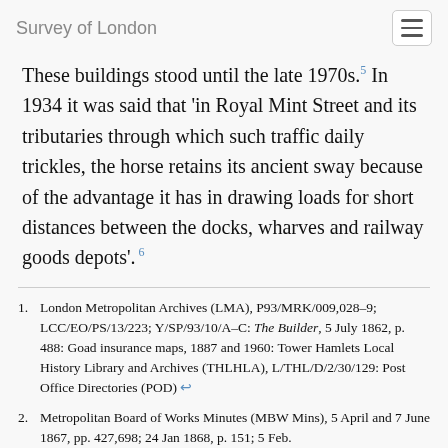Survey of London
These buildings stood until the late 1970s.⁵ In 1934 it was said that 'in Royal Mint Street and its tributaries through which such traffic daily trickles, the horse retains its ancient sway because of the advantage it has in drawing loads for short distances between the docks, wharves and railway goods depots'.⁶
1. London Metropolitan Archives (LMA), P93/MRK/009,028–9; LCC/EO/PS/13/223; Y/SP/93/10/A–C: The Builder, 5 July 1862, p. 488: Goad insurance maps, 1887 and 1960: Tower Hamlets Local History Library and Archives (THLHLA), L/THL/D/2/30/129: Post Office Directories (POD) ←
2. Metropolitan Board of Works Minutes (MBW Mins), 5 April and 7 June 1867, pp. 427,698; 24 Jan 1868, p. 151; 5 Feb.